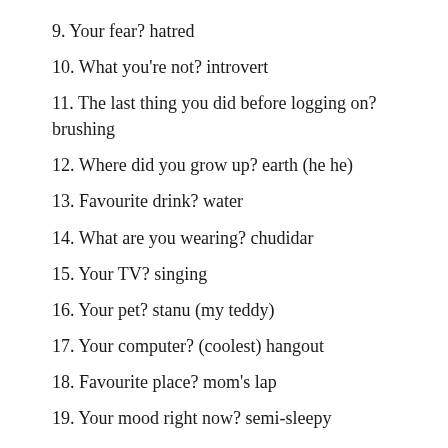9. Your fear? hatred
10. What you're not? introvert
11. The last thing you did before logging on? brushing
12. Where did you grow up? earth (he he)
13. Favourite drink? water
14. What are you wearing? chudidar
15. Your TV? singing
16. Your pet? stanu (my teddy)
17. Your computer? (coolest) hangout
18. Favourite place? mom's lap
19. Your mood right now? semi-sleepy